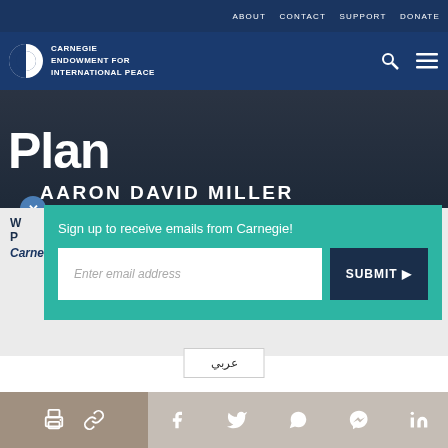ABOUT   CONTACT   SUPPORT   DONATE
[Figure (logo): Carnegie Endowment for International Peace logo with circular half-moon icon]
[Figure (photo): Hero image with large white text 'Plan' and 'AARON DAVID MILLER' overlaid on dark background photo]
Sign up to receive emails from Carnegie!
Enter email address
SUBMIT ▶
W
P
Carnegie center fellow, among others.
عربي
Share icons: print, link, Facebook, Twitter, WhatsApp, Messenger, LinkedIn